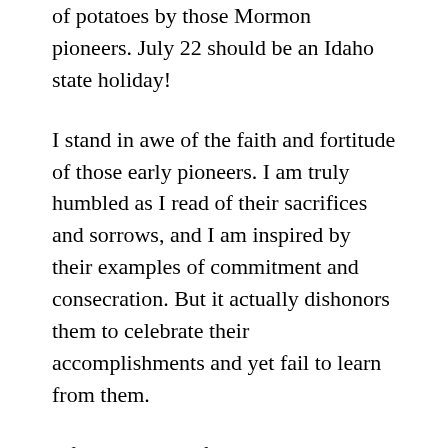of potatoes by those Mormon pioneers. July 22 should be an Idaho state holiday!
I stand in awe of the faith and fortitude of those early pioneers. I am truly humbled as I read of their sacrifices and sorrows, and I am inspired by their examples of commitment and consecration. But it actually dishonors them to celebrate their accomplishments and yet fail to learn from them.
After the death of the Prophet Joseph, the Saints were directed by President Brigham Young to redouble their efforts in working on the temple so they could receive the saving ordinances of the gospel therein. These